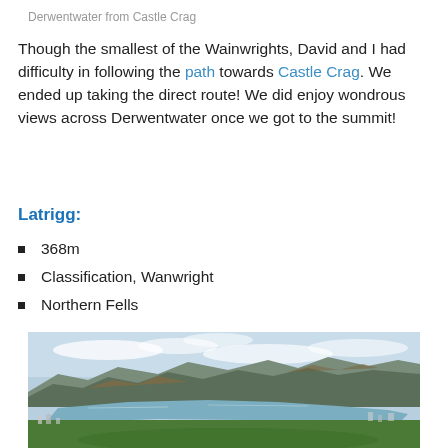Derwentwater from Castle Crag
Though the smallest of the Wainwrights, David and I had difficulty in following the path towards Castle Crag. We ended up taking the direct route! We did enjoy wondrous views across Derwentwater once we got to the summit!
Latrigg:
368m
Classification, Wanwright
Northern Fells
[Figure (photo): Panoramic landscape view from Latrigg showing Derwentwater lake, surrounding mountains and hills under a partly cloudy blue sky, with a town visible in the foreground.]